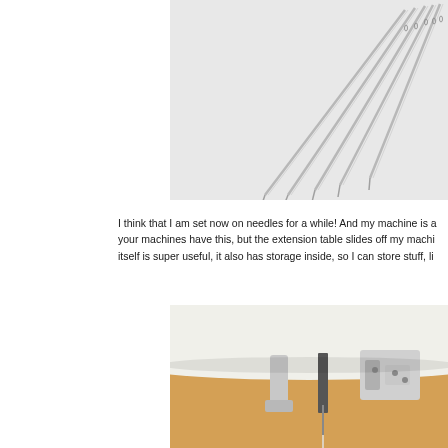[Figure (photo): Close-up photo of multiple sewing machine needles fanned out against a white textured background, showing the sharp tips and eyes of the needles in silver metallic color.]
I think that I am set now on needles for a while! And my machine is a your machines have this, but the extension table slides off my machi itself is super useful, it also has storage inside, so I can store stuff, li
[Figure (photo): Close-up photo of the underside of a sewing machine showing the presser foot area, needle bar mechanism, and metallic components against a tan/beige background.]